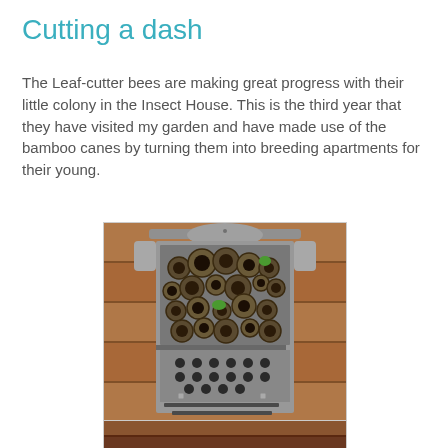Cutting a dash
The Leaf-cutter bees are making great progress with their little colony in the Insect House. This is the third year that they have visited my garden and have made use of the bamboo canes by turning them into breeding apartments for their young.
[Figure (photo): A wooden insect house mounted on a red/brown wooden fence. The upper section contains multiple hollow bamboo canes of various sizes bundled together, with some green leaf plugs visible. The lower section has a wooden block with circular drilled holes arranged in rows, and two horizontal slots below them, plus two small drawer pulls at the bottom.]
[Figure (photo): Partial view of another photo at the bottom of the page, showing what appears to be a close-up brown/wooden surface.]